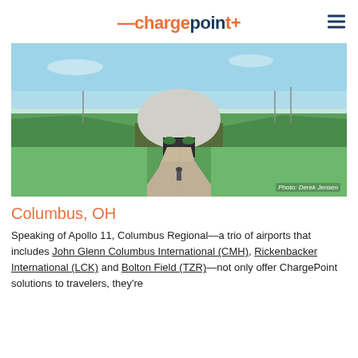—chargepoint+
[Figure (photo): Exterior view of John Glenn Columbus International Airport with a large white dome structure and a long walkway leading to the entrance, flanked by green grass lawns. Photo credit: Derek Jensen]
Columbus, OH
Speaking of Apollo 11, Columbus Regional—a trio of airports that includes John Glenn Columbus International (CMH), Rickenbacker International (LCK) and Bolton Field (TZR)—not only offer ChargePoint solutions to travelers, they're